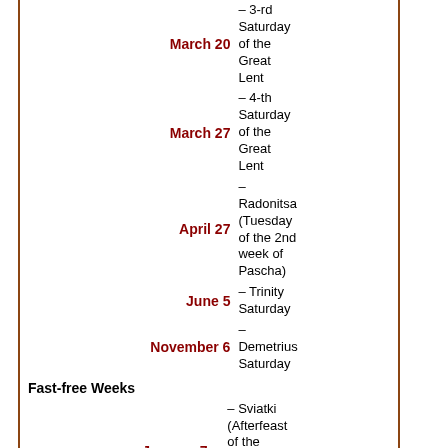| Date | Description |
| --- | --- |
| March 20 | – 3-rd Saturday of the Great Lent |
| March 27 | – 4-th Saturday of the Great Lent |
| April 27 | – Radonitsa (Tuesday of the 2nd week of Pascha) |
| June 5 | – Trinity Saturday |
| November 6 | – Demetrius Saturday |
Fast-free Weeks
| Date | Description |
| --- | --- |
| January 7 – January 17 | – Sviatki (Afterfeast of the Nativity of Christ to Theophany Eve) |
| February 7 | – Publican & Pharisee |